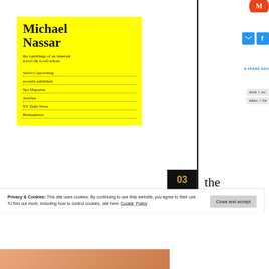Michael Nassar
the ramblings of an itinerant travel (& food) whore
Select Copywriting
recently published:
Spa Magazine
AsiaSpa
NY Daily News
Hemispheres
9 YEARS AGO
drink / eu
adieu / fra
03
the
Privacy & Cookies: This site uses cookies. By continuing to use this website, you agree to their use.
To find out more, including how to control cookies, see here: Cookie Policy
Close and accept